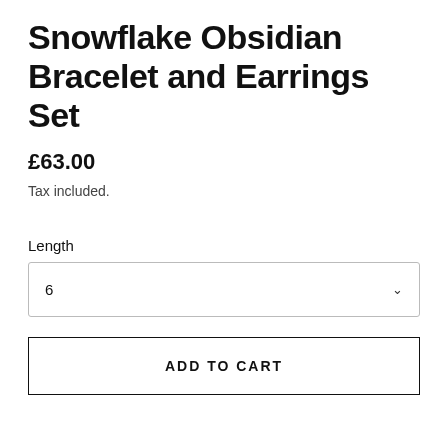Snowflake Obsidian Bracelet and Earrings Set
£63.00
Tax included.
Length
6
ADD TO CART